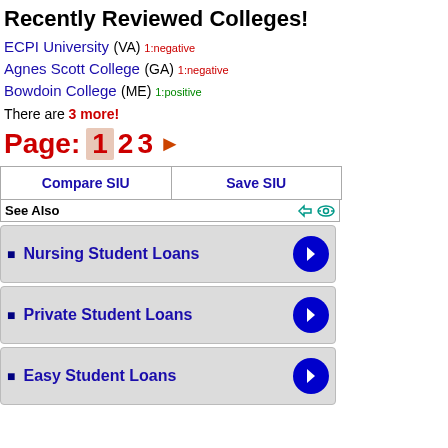Recently Reviewed Colleges!
ECPI University (VA) 1:negative
Agnes Scott College (GA) 1:negative
Bowdoin College (ME) 1:positive
There are 3 more!
Page: 1 2 3 ▶
| Compare SIU | Save SIU |
| --- | --- |
See Also
Nursing Student Loans
Private Student Loans
Easy Student Loans